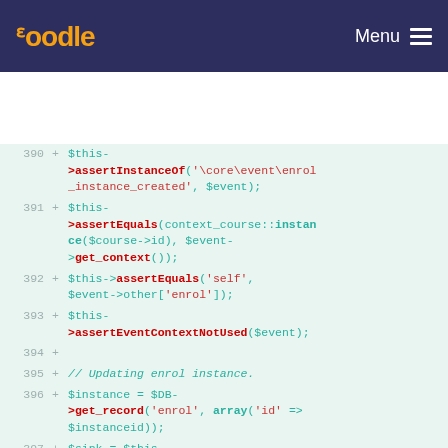moodle   Menu
[Figure (screenshot): Code diff view showing PHP test code lines 390-398, with line numbers, plus signs, and syntax-highlighted PHP code on a light green background. Methods assertInstanceOf, assertEquals, assertEventContextNotUsed, get_record, redirectEvents, update_status are shown in red bold, string literals in red, and variables/other code in teal.]